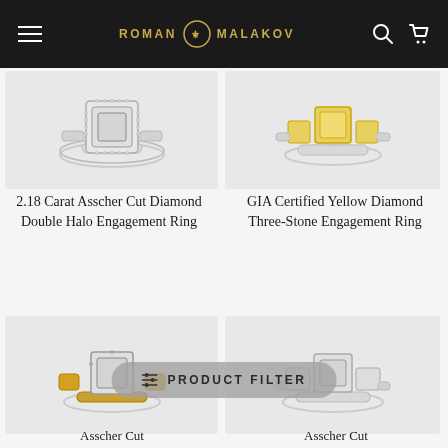ROMAN MALAKOV
[Figure (photo): Asscher cut diamond double halo engagement ring on white/light grey background]
[Figure (photo): GIA Certified Yellow Diamond Three-Stone Engagement Ring on white background]
2.18 Carat Asscher Cut Diamond Double Halo Engagement Ring
GIA Certified Yellow Diamond Three-Stone Engagement Ring
[Figure (photo): Asscher Cut ring with yellow gold accents on light background]
[Figure (photo): Asscher Cut diamond ring on white/silver band on light background]
PRODUCT FILTER
Asscher Cut
Asscher Cut